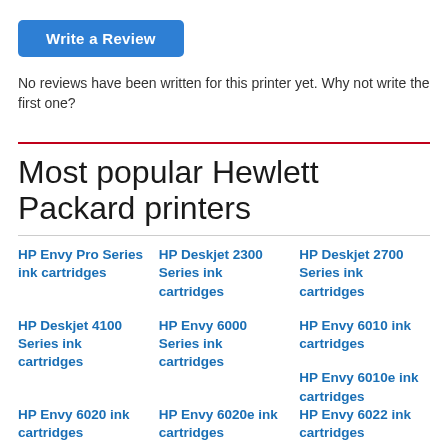[Figure (other): Blue 'Write a Review' button]
No reviews have been written for this printer yet. Why not write the first one?
Most popular Hewlett Packard printers
HP Envy Pro Series ink cartridges
HP Deskjet 2300 Series ink cartridges
HP Deskjet 2700 Series ink cartridges
HP Deskjet 4100 Series ink cartridges
HP Envy 6000 Series ink cartridges
HP Envy 6010 ink cartridges
HP Envy 6010e ink cartridges
HP Envy 6020 ink cartridges
HP Envy 6020e ink cartridges
HP Envy 6022 ink cartridges